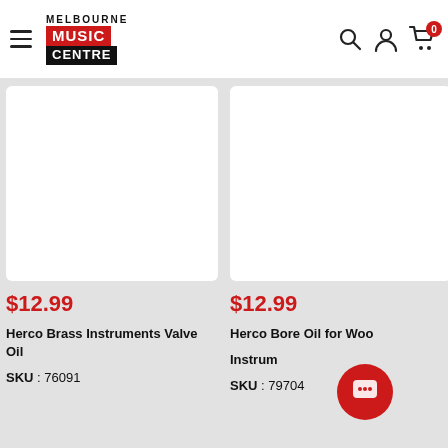Melbourne Music Centre — navigation header with logo, hamburger menu, search, account, and cart icons
$12.99
Herco Brass Instruments Valve Oil
SKU : 76091
$12.99
Herco Bore Oil for Wood Instruments
SKU : 79704